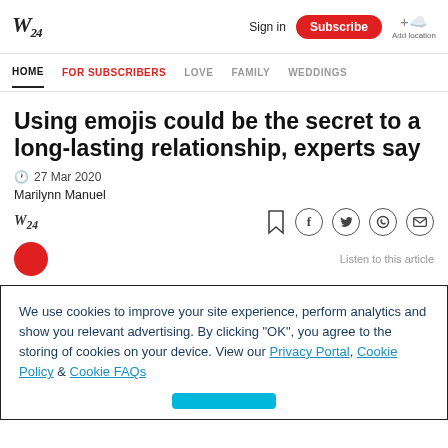W24 | Sign in | Subscribe | Add location
HOME | FOR SUBSCRIBERS | LOVE | FAMILY | WEDDINGS
Using emojis could be the secret to a long-lasting relationship, experts say
27 Mar 2020
Marilynn Manuel
Listen to this article
We use cookies to improve your site experience, perform analytics and show you relevant advertising. By clicking "OK", you agree to the storing of cookies on your device. View our Privacy Portal, Cookie Policy & Cookie FAQs